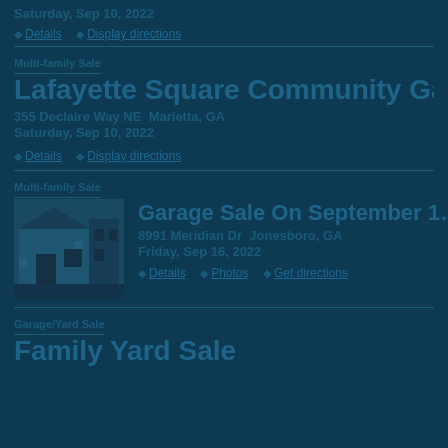Saturday, Sep 10, 2022
Details   Display directions
Multi-family Sale
Lafayette Square Community Garag…
355 Declaire Way NE  Marietta, GA
Saturday, Sep 10, 2022
Details   Display directions
Multi-family Sale
[Figure (photo): Thumbnail image of a house/property for the garage sale listing]
Garage Sale On September 1…
8991 Meridian Dr  Jonesboro, GA
Friday, Sep 16, 2022
Details   Photos   Get directions
Garage/Yard Sale
Family Yard Sale